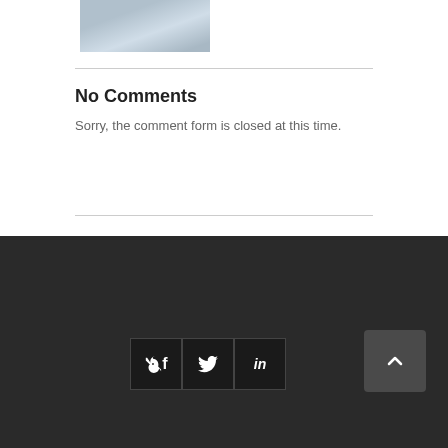[Figure (photo): Profile photo of a person in a light blue shirt]
No Comments
Sorry, the comment form is closed at this time.
[Figure (infographic): Dark footer with social media icons for Facebook, Twitter, LinkedIn, and a scroll-to-top button]